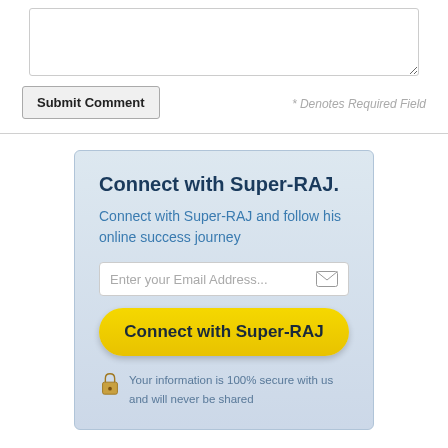[Figure (screenshot): Textarea input box for comment submission]
Submit Comment
* Denotes Required Field
Connect with Super-RAJ.
Connect with Super-RAJ and follow his online success journey
Enter your Email Address...
Connect with Super-RAJ
Your information is 100% secure with us and will never be shared